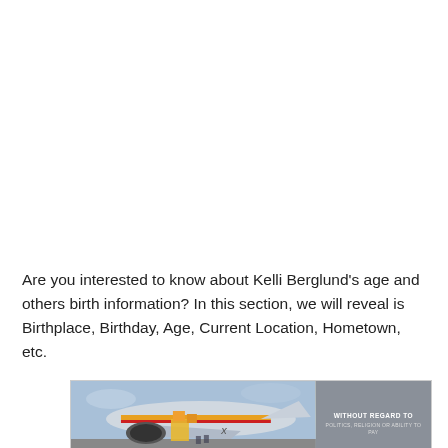Are you interested to know about Kelli Berglund's age and others birth information? In this section, we will reveal is Birthplace, Birthday, Age, Current Location, Hometown, etc.
[Figure (photo): Advertisement banner showing a cargo airplane being loaded at an airport, with a gray panel on the right reading 'WITHOUT REGARD TO POLITICS, RELIGION OR ABILITY TO PAY']